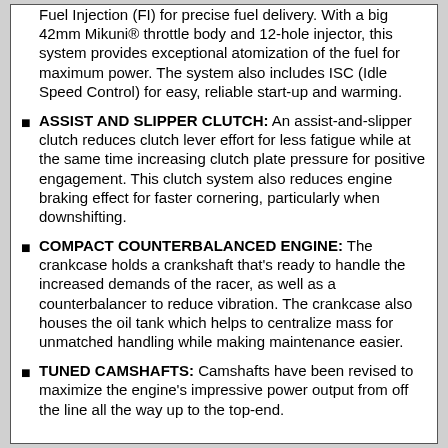Fuel Injection (FI) for precise fuel delivery. With a big 42mm Mikuni® throttle body and 12-hole injector, this system provides exceptional atomization of the fuel for maximum power. The system also includes ISC (Idle Speed Control) for easy, reliable start-up and warming.
ASSIST AND SLIPPER CLUTCH: An assist-and-slipper clutch reduces clutch lever effort for less fatigue while at the same time increasing clutch plate pressure for positive engagement. This clutch system also reduces engine braking effect for faster cornering, particularly when downshifting.
COMPACT COUNTERBALANCED ENGINE: The crankcase holds a crankshaft that's ready to handle the increased demands of the racer, as well as a counterbalancer to reduce vibration. The crankcase also houses the oil tank which helps to centralize mass for unmatched handling while making maintenance easier.
TUNED CAMSHAFTS: Camshafts have been revised to maximize the engine's impressive power output from off the line all the way up to the top-end.